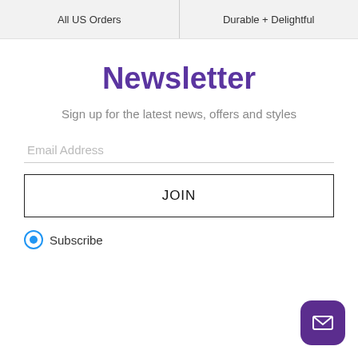All US Orders | Durable + Delightful
Newsletter
Sign up for the latest news, offers and styles
Email Address
JOIN
Subscribe
[Figure (illustration): Purple rounded square chat/email button with envelope icon in bottom right corner]